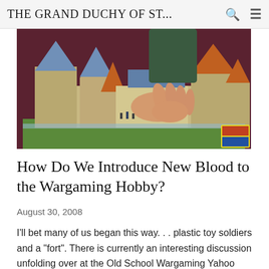THE GRAND DUCHY OF ST...
[Figure (photo): A child's hand reaching into a detailed paper/cardboard model of a medieval castle with towers, battlements, and colored rooftops, set on a green base, photographed from above on a dark red background.]
How Do We Introduce New Blood to the Wargaming Hobby?
August 30, 2008
I'll bet many of us began this way. . . plastic toy soldiers and a "fort". There is currently an interesting discussion unfolding over at the Old School Wargaming Yahoo group about how to introduce younger, new blood into the wargaming hobby. So...